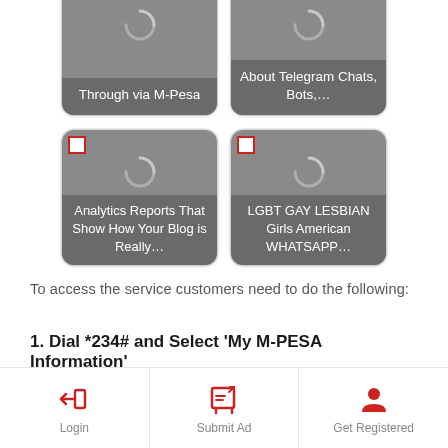[Figure (screenshot): Two partially visible content cards at top: 'Through via M-Pesa' and 'About Telegram Chats, Bots,...' with gray overlay on thumbnails]
[Figure (screenshot): Two content cards: 'Analytics Reports That Show How Your Blog is Really...' and 'LGBT GAY LESBIAN Girls American WHATSAPP...' with checkboxes and gray overlays]
To access the service customers need to do the following:
1. Dial *234# and Select 'My M-PESA Information'
Key in the number 2 and press send
Login | Submit Ad | Get Registered